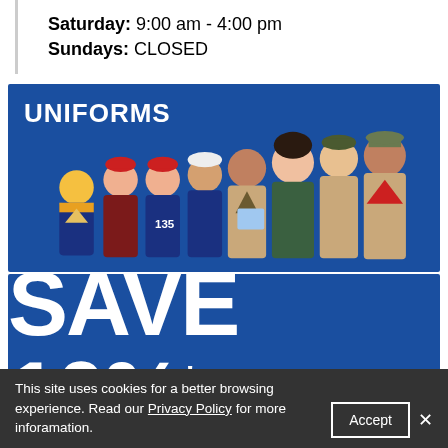Saturday: 9:00 am - 4:00 pm
Sundays: CLOSED
[Figure (illustration): Blue banner with 'UNIFORMS' text and group of scouts/leaders in various BSA uniforms standing together]
[Figure (infographic): Blue banner with large white text reading 'SAVE 10%*']
This site uses cookies for a better browsing experience. Read our Privacy Policy for more inforamation.